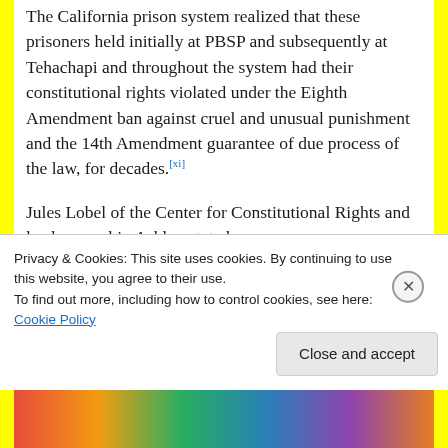The California prison system realized that these prisoners held initially at PBSP and subsequently at Tehachapi and throughout the system had their constitutional rights violated under the Eighth Amendment ban against cruel and unusual punishment and the 14th Amendment guarantee of due process of the law, for decades.[xi]
Jules Lobel of the Center for Constitutional Rights and lead counsel in Ashker stated:
“The torture of solitary confinement doesn’t end
Privacy & Cookies: This site uses cookies. By continuing to use this website, you agree to their use.
To find out more, including how to control cookies, see here: Cookie Policy